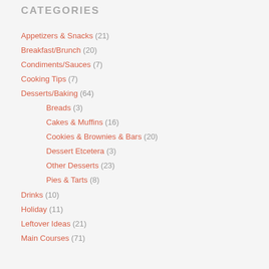CATEGORIES
Appetizers & Snacks (21)
Breakfast/Brunch (20)
Condiments/Sauces (7)
Cooking Tips (7)
Desserts/Baking (64)
Breads (3)
Cakes & Muffins (16)
Cookies & Brownies & Bars (20)
Dessert Etcetera (3)
Other Desserts (23)
Pies & Tarts (8)
Drinks (10)
Holiday (11)
Leftover Ideas (21)
Main Courses (71)